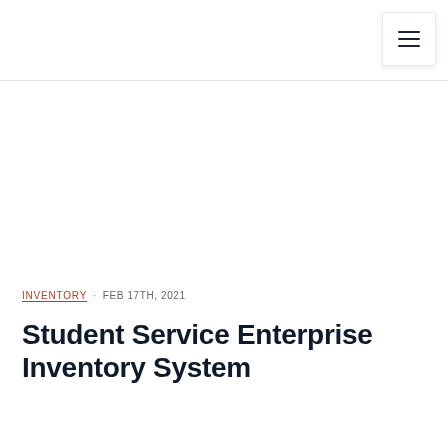≡
INVENTORY · FEB 17TH, 2021
Student Service Enterprise Inventory System
STUDENT SERVICE ENTERPRISE INVENTORY SYSTEM